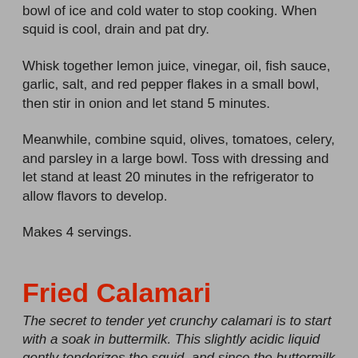bowl of ice and cold water to stop cooking. When squid is cool, drain and pat dry.
Whisk together lemon juice, vinegar, oil, fish sauce, garlic, salt, and red pepper flakes in a small bowl, then stir in onion and let stand 5 minutes.
Meanwhile, combine squid, olives, tomatoes, celery, and parsley in a large bowl. Toss with dressing and let stand at least 20 minutes in the refrigerator to allow flavors to develop.
Makes 4 servings.
Fried Calamari
The secret to tender yet crunchy calamari is to start with a soak in buttermilk. This slightly acidic liquid gently tenderizes the squid, and since the buttermilk is extra thick, it helps the breading adhere to the rings, eliminating the need for beaten egg. For added crunch, you can't beat cornmeal; its fine, nobbly grains fry up crispy. Serve with your favorite